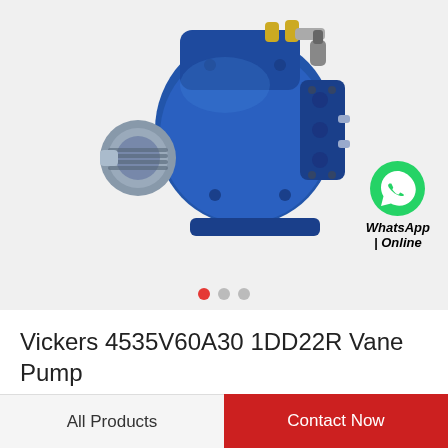[Figure (photo): Blue hydraulic vane pump (Vickers 4535V60A30 1DD22R) on light grey background, with a green WhatsApp icon and 'WhatsApp Online' text overlay in the bottom right. Three carousel navigation dots at the bottom of the image area.]
Vickers 4535V60A30 1DD22R Vane Pump
All Products
Contact Now